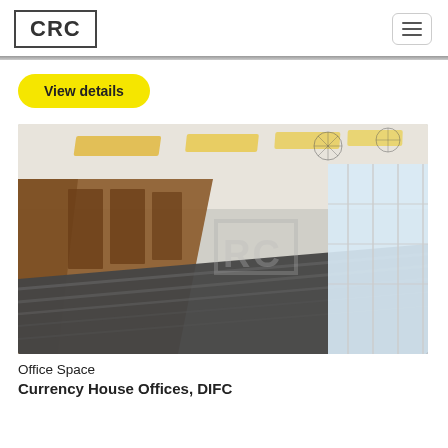CRC
View details
[Figure (photo): Interior photo of a modern office space corridor. Features wooden wall panels on the left, floor-to-ceiling windows on the right with natural light, strip ceiling lights with warm glow, dark striped flooring, and a CRC watermark overlay in the center.]
Office Space
Currency House Offices, DIFC